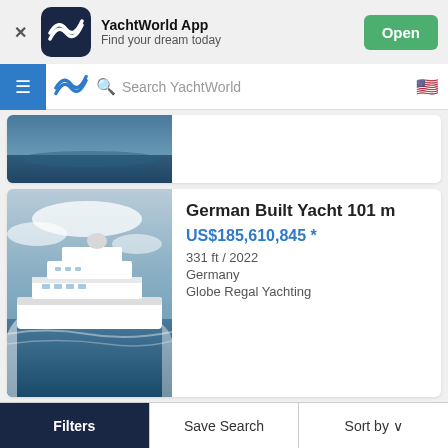[Figure (screenshot): YachtWorld App banner with dark navy icon showing wave logo, title 'YachtWorld App', subtitle 'Find your dream today', and green Open button]
[Figure (screenshot): Navigation bar with blue hamburger menu, YachtWorld wave logo, search field 'Search YachtWorld', and US flag icon]
[Figure (photo): Partial yacht listing card showing aerial/ocean photo cropped at top]
German Built Yacht 101 m
US$185,610,845 *
331 ft / 2022
Germany
Globe Regal Yachting
[Figure (photo): Large white motor yacht sailing on open ocean with cloudy sky, viewed from side-rear angle]
Filters   Save Search   Sort by